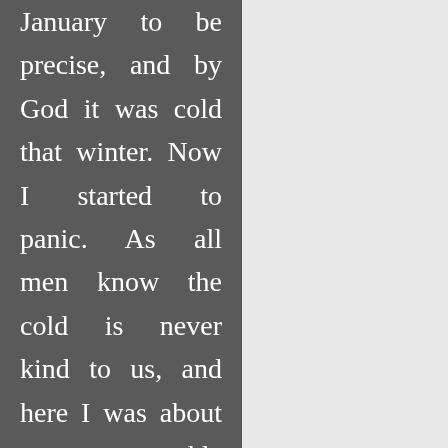January to be precise, and by God it was cold that winter. Now I started to panic. As all men know the cold is never kind to us, and here I was about to get my tackle out for an audience,